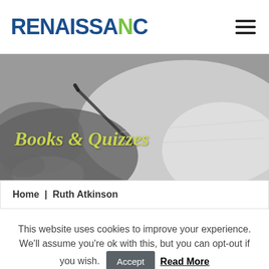[Figure (logo): Renaissance logo with dark blue and green text]
[Figure (photo): Grayscale hero banner showing a hand writing on paper with overlaid italic text 'Books & Quizzes']
Books & Quizzes
Home | Ruth Atkinson
This website uses cookies to improve your experience. We'll assume you're ok with this, but you can opt-out if you wish. Accept Read More